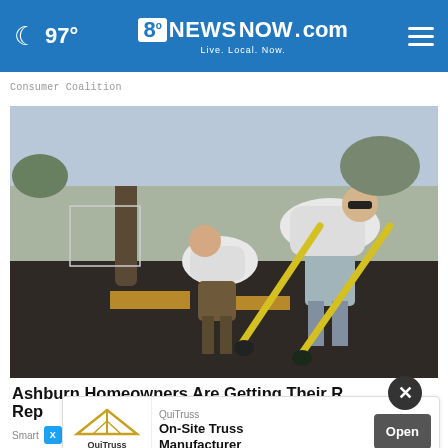97° 8NewsNow.com Live. Local. Now.
Consumer Coalition
[Figure (photo): Two workers on a roof tearing off old shingles with yellow pry bars, wearing white t-shirts and work gloves. Sunny day, residential neighborhood in background.]
Ashburn Homeowners Are Getting Their Roofs Replaced For Almost Nothing
SmartConsumerInsider.com